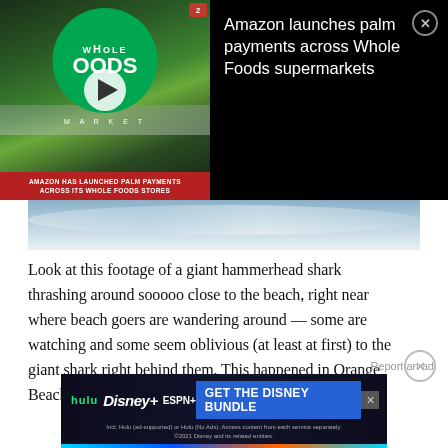[Figure (screenshot): Video thumbnail showing Whole Foods Market store sign with green circle logo, a red news ticker banner reading 'AMAZON HAS LAUNCHED PALM PAYMENTS ACROSS ITS WHOLE FOODS STORES', and a play button overlay. Adjacent black panel shows ad title 'Amazon launches palm payments across Whole Foods supermarkets' with a close (X) button.]
Look at this footage of a giant hammerhead shark thrashing around sooooo close to the beach, right near where beach goers are wandering around — some are watching and some seem oblivious (at least at first) to the giant shark right behind them. This happened in Orange Beach, Alabama, and was captured on video
Report an ad
[Figure (screenshot): Disney Bundle advertisement banner showing Hulu, Disney+, and ESPN+ logos on dark background with blue 'GET THE DISNEY BUNDLE' call-to-action button. Small text reads 'Incl. Hulu (ad-supported) or Hulu (No Ads). Access content from each service separately. ©2021 Disney and its related entities.']